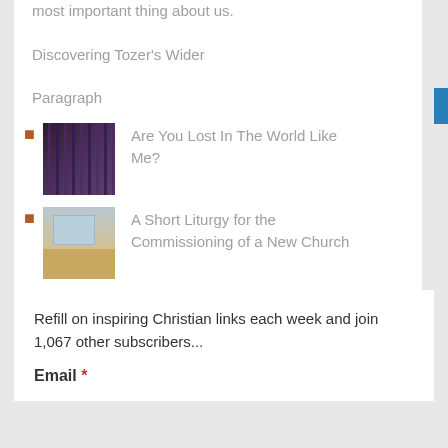most important thing about us. Discovering Tozer's Wider Paragraph
Are You Lost In The World Like Me?
A Short Liturgy for the Commissioning of a New Church
Refill on inspiring Christian links each week and join 1,067 other subscribers...
Email *